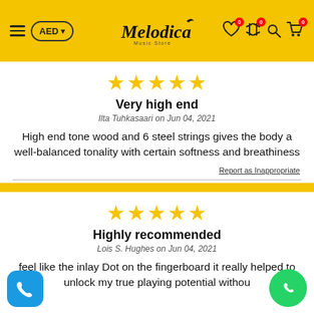Melodica Music Store — AED — Navigation header with icons
[Figure (other): 5 yellow stars rating]
Very high end
Ilta Tuhkasaari on Jun 04, 2021
High end tone wood and 6 steel strings gives the body a well-balanced tonality with certain softness and breathiness
Report as Inappropriate
[Figure (other): 5 yellow stars rating]
Highly recommended
Lois S. Hughes on Jun 04, 2021
feel like the inlay Dot on the fingerboard it really helped to unlock my true playing potential without